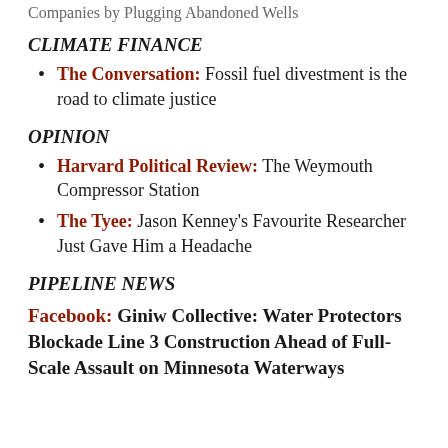Companies by Plugging Abandoned Wells
CLIMATE FINANCE
The Conversation: Fossil fuel divestment is the road to climate justice
OPINION
Harvard Political Review: The Weymouth Compressor Station
The Tyee: Jason Kenney's Favourite Researcher Just Gave Him a Headache
PIPELINE NEWS
Facebook: Giniw Collective: Water Protectors Blockade Line 3 Construction Ahead of Full-Scale Assault on Minnesota Waterways